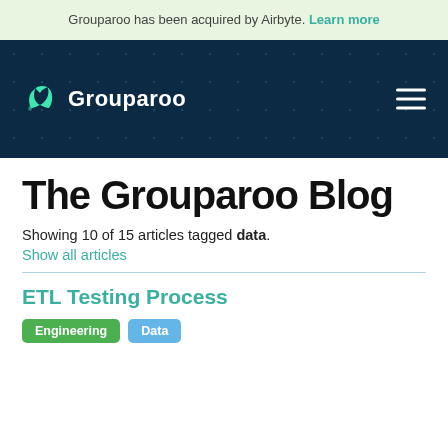Grouparoo has been acquired by Airbyte. Learn more
[Figure (logo): Grouparoo logo and navigation bar with hamburger menu on dark navy background with dot grid pattern]
The Grouparoo Blog
Showing 10 of 15 articles tagged data.
Show all articles
ETL Testing Process
Engineering  Data